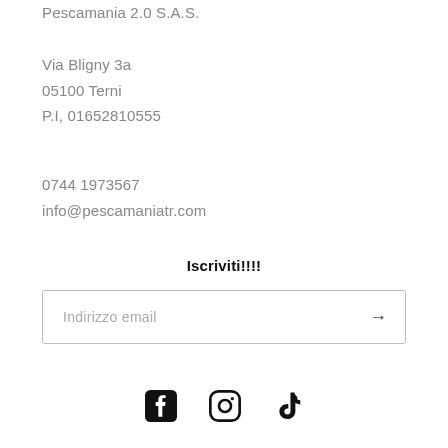Pescamania 2.0 S.A.S.
Via Bligny 3a
05100 Terni
P.I, 01652810555
0744 1973567
info@pescamaniatr.com
Iscriviti!!!!
Indirizzo email
[Figure (illustration): Social media icons: Facebook, Instagram, TikTok]